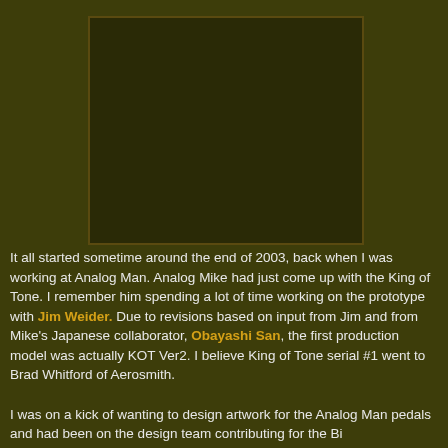[Figure (photo): Dark rectangular image placeholder with very dark olive/brown color, likely a photo of a guitar pedal or related equipment.]
It all started sometime around the end of 2003, back when I was working at Analog Man. Analog Mike had just come up with the King of Tone. I remember him spending a lot of time working on the prototype with Jim Weider. Due to revisions based on input from Jim and from Mike's Japanese collaborator, Obayashi San, the first production model was actually KOT Ver2. I believe King of Tone serial #1 went to Brad Whitford of Aerosmith.
I was on a kick of wanting to design artwork for the Analog Man pedals and had been on the design team contributing for the Big...